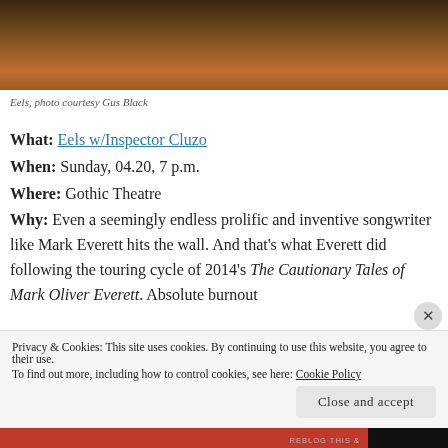[Figure (photo): Close-up photo of a man in a dark jacket, cropped to show lower face and shoulders, warm brown tones]
Eels, photo courtesy Gus Black
What: Eels w/Inspector Cluzo
When: Sunday, 04.20, 7 p.m.
Where: Gothic Theatre
Why: Even a seemingly endless prolific and inventive songwriter like Mark Everett hits the wall. And that's what Everett did following the touring cycle of 2014's The Cautionary Tales of Mark Oliver Everett. Absolute burnout
Privacy & Cookies: This site uses cookies. By continuing to use this website, you agree to their use.
To find out more, including how to control cookies, see here: Cookie Policy
Close and accept